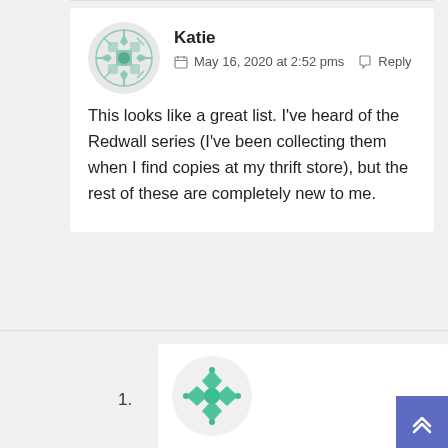Katie
May 16, 2020 at 2:52 pms  Reply
This looks like a great list. I've heard of the Redwall series (I've been collecting them when I find copies at my thrift store), but the rest of these are completely new to me.
1.
Anastasia
May 16, 2020 at 3:13 pms  Reply